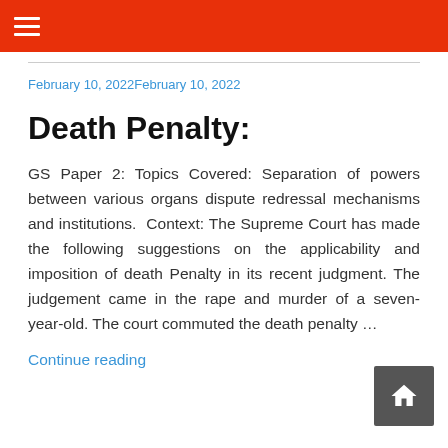☰ (hamburger menu)
February 10, 2022February 10, 2022
Death Penalty:
GS Paper 2: Topics Covered: Separation of powers between various organs dispute redressal mechanisms and institutions.  Context: The Supreme Court has made the following suggestions on the applicability and imposition of death Penalty in its recent judgment. The judgement came in the rape and murder of a seven-year-old. The court commuted the death penalty ...
Continue reading